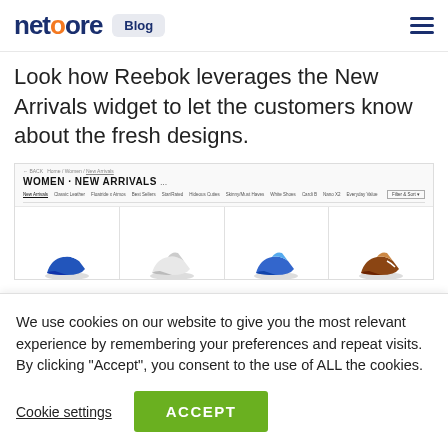netcore Blog
Look how Reebok leverages the New Arrivals widget to let the customers know about the fresh designs.
[Figure (screenshot): Screenshot of Reebok website showing Women · New Arrivals page with product filter navigation and sneaker product images.]
We use cookies on our website to give you the most relevant experience by remembering your preferences and repeat visits. By clicking “Accept”, you consent to the use of ALL the cookies.
Cookie settings  ACCEPT